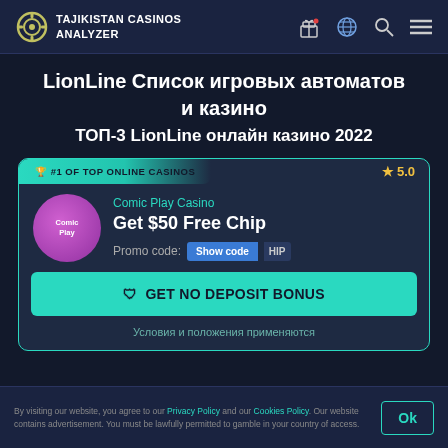TAJIKISTAN CASINOS ANALYZER
LionLine Список игровых автоматов и казино
ТОП-3 LionLine онлайн казино 2022
[Figure (screenshot): Casino card for Comic Play Casino showing #1 OF TOP ONLINE CASINOS badge, rating 5.0, Get $50 Free Chip offer, promo code Show code button, and GET NO DEPOSIT BONUS CTA button]
Условия и положения применяются
By visiting our website, you agree to our Privacy Policy and our Cookies Policy. Our website contains advertisement. You must be lawfully permitted to gamble in your country of access.